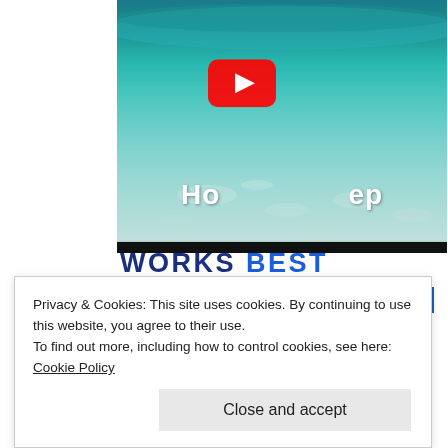[Figure (screenshot): A YouTube video thumbnail showing an underwater scene with shallow turquoise water. The YouTube play button (red rounded rectangle with white triangle) is centered. Text 'How Deep' is partially visible overlaid on the image.]
Works Best
SEE PRICING
Privacy & Cookies: This site uses cookies. By continuing to use this website, you agree to their use.
To find out more, including how to control cookies, see here: Cookie Policy
Close and accept